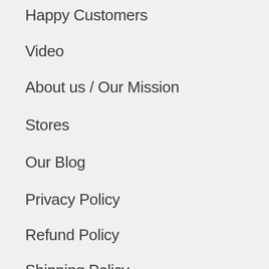Happy Customers
Video
About us / Our Mission
Stores
Our Blog
Privacy Policy
Refund Policy
Shipping Policy